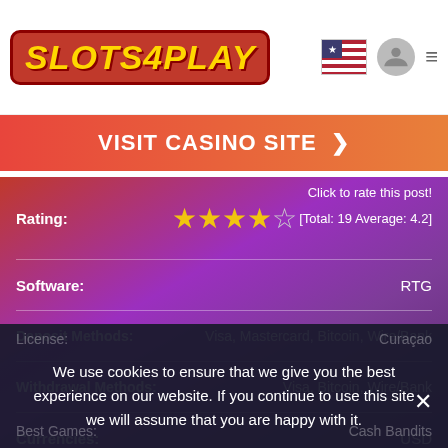[Figure (logo): Slots4Play logo in gold text on red background with dark red border]
VISIT CASINO SITE ❯
Click to rate this post!
Rating:
★★★★☆ [Total: 19 Average: 4.2]
Software: RTG
Deposit Methods: Visa, Mastercard, Bitcoin, Wire/Bank
Withdrawal Methods: Visa, Bitcoin, Wire/Bank
Currencies: USD
Best for: USA
License: Curaçao
Best Games: Cash Bandits
We use cookies to ensure that we give you the best experience on our website. If you continue to use this site we will assume that you are happy with it.